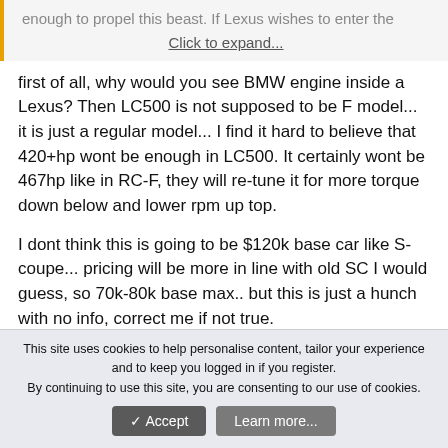enough to propel this beast. If Lexus wishes to enter the
Click to expand...
first of all, why would you see BMW engine inside a Lexus? Then LC500 is not supposed to be F model... it is just a regular model... I find it hard to believe that 420+hp wont be enough in LC500. It certainly wont be 467hp like in RC-F, they will re-tune it for more torque down below and lower rpm up top.
I dont think this is going to be $120k base car like S-coupe... pricing will be more in line with old SC I would guess, so 70k-80k base max.. but this is just a hunch with no info, correct me if not true.
This site uses cookies to help personalise content, tailor your experience and to keep you logged in if you register.
By continuing to use this site, you are consenting to our use of cookies.